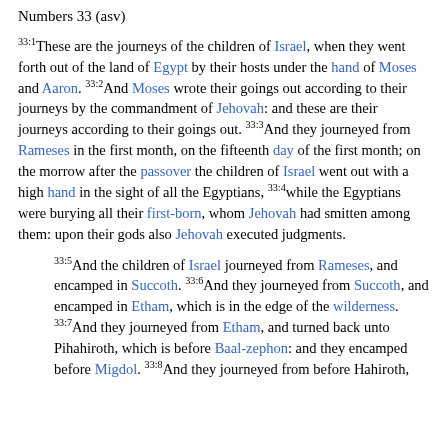Numbers 33 (asv)
33:1 These are the journeys of the children of Israel, when they went forth out of the land of Egypt by their hosts under the hand of Moses and Aaron. 33:2 And Moses wrote their goings out according to their journeys by the commandment of Jehovah: and these are their journeys according to their goings out. 33:3 And they journeyed from Rameses in the first month, on the fifteenth day of the first month; on the morrow after the passover the children of Israel went out with a high hand in the sight of all the Egyptians, 33:4 while the Egyptians were burying all their first-born, whom Jehovah had smitten among them: upon their gods also Jehovah executed judgments.
33:5 And the children of Israel journeyed from Rameses, and encamped in Succoth. 33:6 And they journeyed from Succoth, and encamped in Etham, which is in the edge of the wilderness. 33:7 And they journeyed from Etham, and turned back unto Pihahiroth, which is before Baal-zephon: and they encamped before Migdol. 33:8 And they journeyed from before Hahiroth,